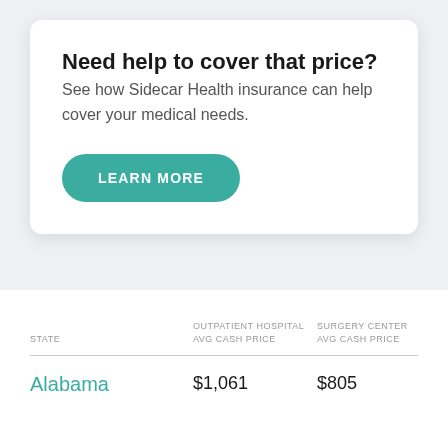Need help to cover that price?
See how Sidecar Health insurance can help cover your medical needs.
LEARN MORE
| STATE | OUTPATIENT HOSPITAL AVG CASH PRICE | SURGERY CENTER AVG CASH PRICE |
| --- | --- | --- |
| Alabama | $1,061 | $805 |